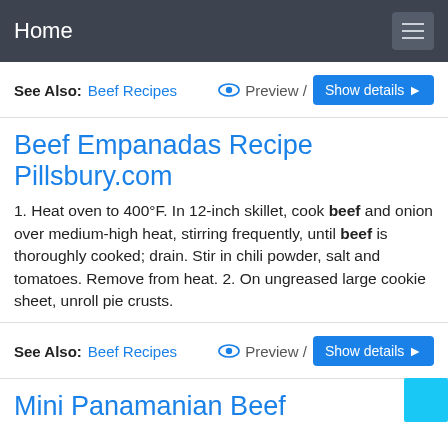Home
See Also: Beef Recipes   Preview /  Show details
Beef Empanadas Recipe Pillsbury.com
1. Heat oven to 400°F. In 12-inch skillet, cook beef and onion over medium-high heat, stirring frequently, until beef is thoroughly cooked; drain. Stir in chili powder, salt and tomatoes. Remove from heat. 2. On ungreased large cookie sheet, unroll pie crusts.
See Also: Beef Recipes   Preview /  Show details
Mini Panamanian Beef